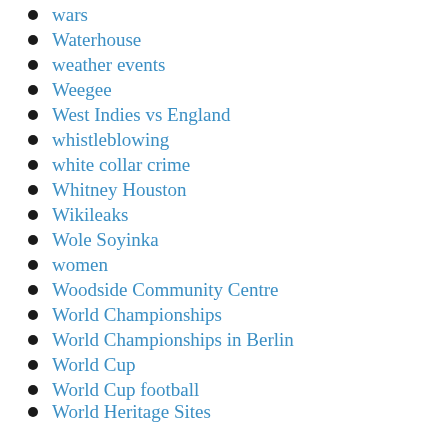wars
Waterhouse
weather events
Weegee
West Indies vs England
whistleblowing
white collar crime
Whitney Houston
Wikileaks
Wole Soyinka
women
Woodside Community Centre
World Championships
World Championships in Berlin
World Cup
World Cup football
World Heritage Sites